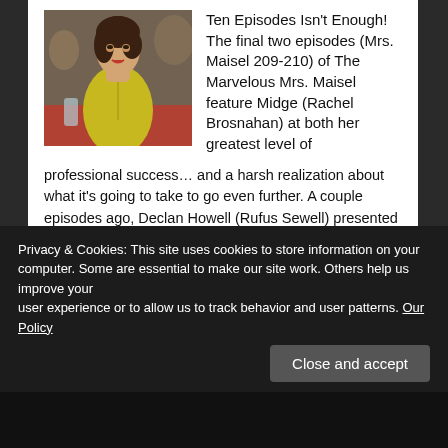[Figure (photo): Woman in yellow dress sitting at a diner booth, looking serious]
Ten Episodes Isn't Enough! The final two episodes (Mrs. Maisel 209-210) of The Marvelous Mrs. Maisel feature Midge (Rachel Brosnahan) at both her greatest level of professional success… and a harsh realization about what it's going to take to go even further. A couple episodes ago, Declan Howell (Rufus Sewell) presented a grim picture of [...]
Privacy & Cookies: This site uses cookies to store information on your computer. Some are essential to make our site work. Others help us improve your user experience or to allow us to track behavior and user patterns. Our Policy